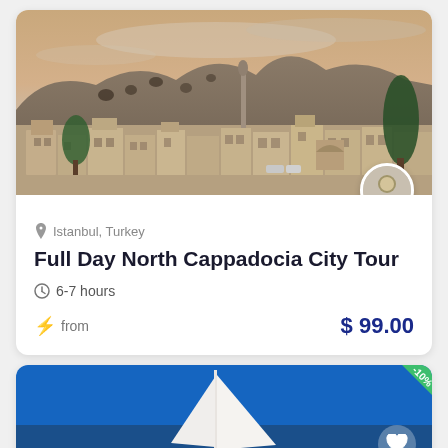[Figure (photo): Aerial/landscape photo of Cappadocia/Istanbul historic city with stone cave buildings, minaret, and trees under a dramatic sky]
Istanbul, Turkey
Full Day North Cappadocia City Tour
6-7 hours
from $ 99.00
[Figure (photo): Partial photo of a sailboat on blue water, with a green -10% discount badge in the top-right corner and a heart icon]